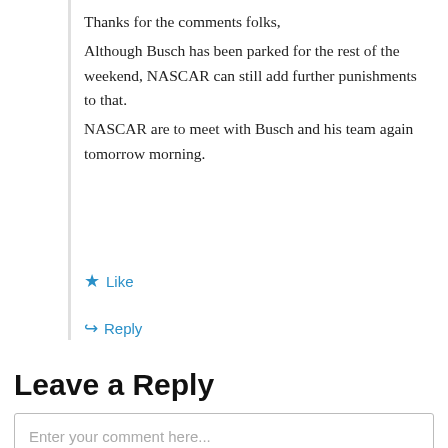Thanks for the comments folks,
Although Busch has been parked for the rest of the weekend, NASCAR can still add further punishments to that.
NASCAR are to meet with Busch and his team again tomorrow morning.
★ Like
↪ Reply
Leave a Reply
Enter your comment here...